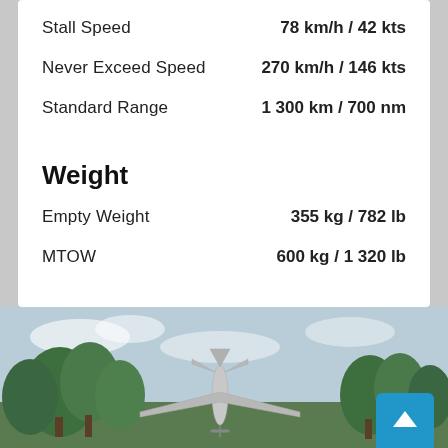| Specification | Value |
| --- | --- |
| Stall Speed | 78 km/h / 42 kts |
| Never Exceed Speed | 270 km/h / 146 kts |
| Standard Range | 1 300 km / 700 nm |
Weight
| Specification | Value |
| --- | --- |
| Empty Weight | 355 kg / 782 lb |
| MTOW | 600 kg / 1 320 lb |
[Figure (photo): Aircraft on ground with trees and sky in background, with a blue back-to-top button in the bottom right corner]